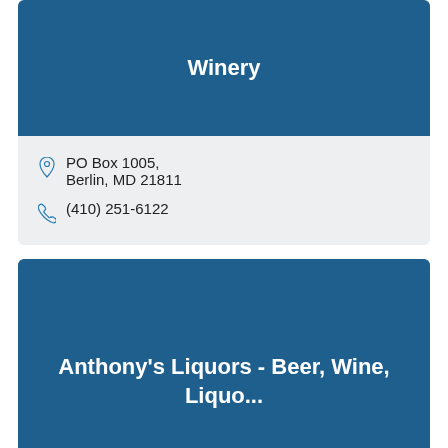Winery
PO Box 1005, Berlin, MD 21811
(410) 251-6122
Anthony's Liquors - Beer, Wine, Liquo...
812 32nd Street, Ocean City, MD 21842